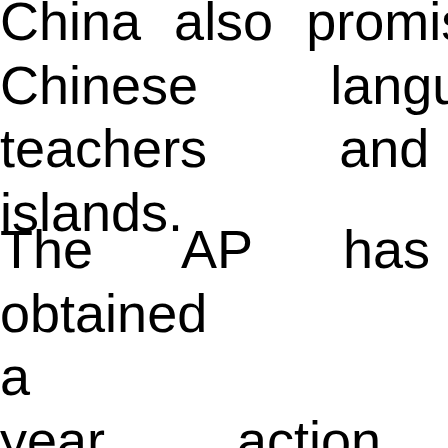China also promised Chinese language c teachers and voluntee islands.
The AP has also obtained a five-year action p intended to sit alon Common Developmen which outlines a n